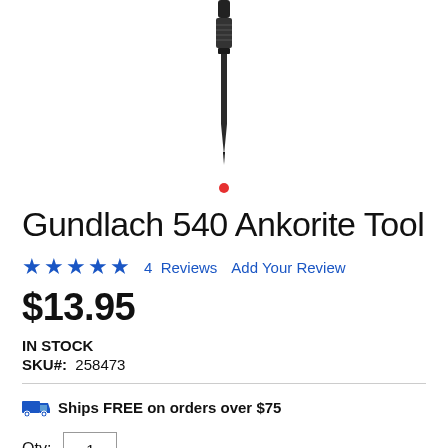[Figure (photo): Product photo of Gundlach 540 Ankorite Tool - a black handled tool with pointed tip, shown vertically, partially cropped at top. A small red dot carousel indicator appears below the image.]
Gundlach 540 Ankorite Tool
★★★★★   4 Reviews   Add Your Review
$13.95
IN STOCK
SKU#:  258473
Ships FREE on orders over $75
Qty:  1